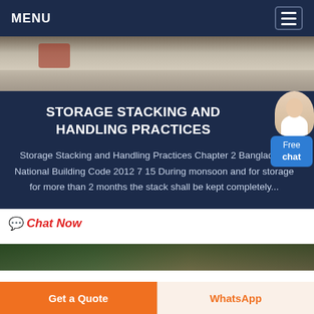MENU
[Figure (photo): Construction site with gravel/aggregate piles and a red tractor in the background]
STORAGE STACKING AND HANDLING PRACTICES
Storage Stacking and Handling Practices Chapter 2 Bangladesh National Building Code 2012 7 15 During monsoon and for storage for more than 2 months the stack shall be kept completely...
Chat Now
[Figure (photo): Partial bottom image strip showing vegetation and construction materials]
Get a Quote
WhatsApp